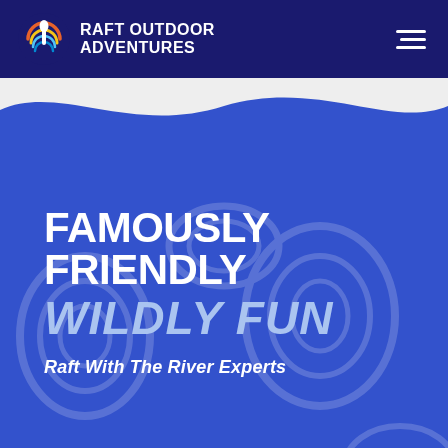RAFT OUTDOOR ADVENTURES
[Figure (logo): Raft Outdoor Adventures logo with paddle/wave icon in circular design with orange, yellow, blue colors, and company name in white on navy background with hamburger menu icon]
FAMOUSLY FRIENDLY
WILDLY FUN
Raft With The River Experts